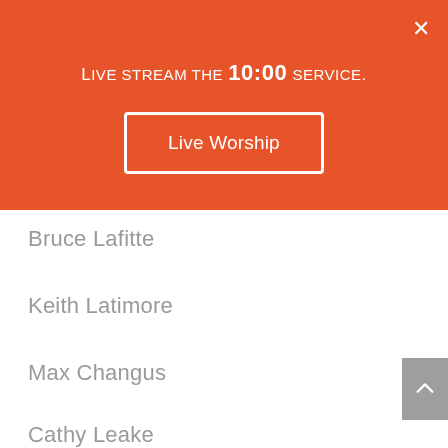Live stream the 10:00 service.
Live Worship
Bruce Lafitte
Keith Latimore
Max Changus
Cathy Leake
Gilda Morris